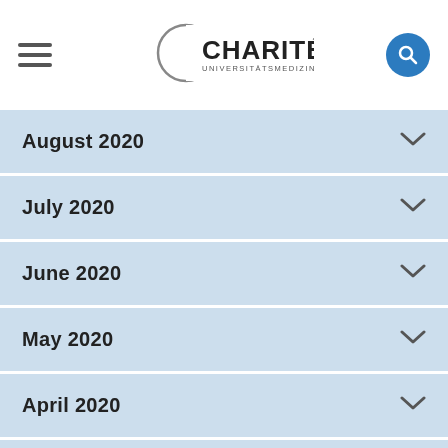Charité Universitätsmedizin Berlin
August 2020
July 2020
June 2020
May 2020
April 2020
March 2020